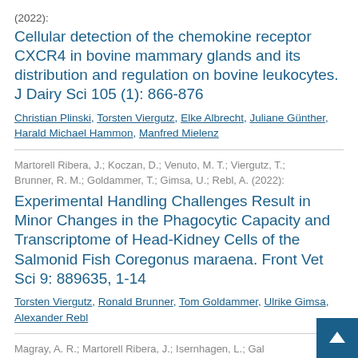(2022):
Cellular detection of the chemokine receptor CXCR4 in bovine mammary glands and its distribution and regulation on bovine leukocytes. J Dairy Sci 105 (1): 866-876
Christian Plinski, Torsten Viergutz, Elke Albrecht, Juliane Günther, Harald Michael Hammon, Manfred Mielenz
Martorell Ribera, J.; Koczan, D.; Venuto, M. T.; Viergutz, T.; Brunner, R. M.; Goldammer, T.; Gimsa, U.; Rebl, A. (2022):
Experimental Handling Challenges Result in Minor Changes in the Phagocytic Capacity and Transcriptome of Head-Kidney Cells of the Salmonid Fish Coregonus maraena. Front Vet Sci 9: 889635, 1-14
Torsten Viergutz, Ronald Brunner, Tom Goldammer, Ulrike Gimsa, Alexander Rebl
Magray, A. R.; Martorell Ribera, J.; Isernhagen, L.; Gal… P.; Günther, J.; Verleih, M.; Viergutz, T.; Brunner, R. M…; B.; Ahmad, F.; Zlatina, K.; Rebl, A. (2021):